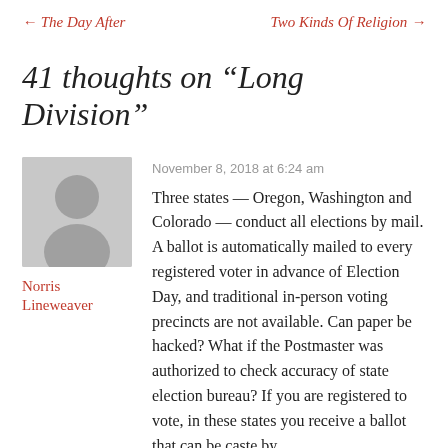← The Day After    Two Kinds Of Religion →
41 thoughts on “Long Division”
November 8, 2018 at 6:24 am
Norris Lineweaver
Three states — Oregon, Washington and Colorado — conduct all elections by mail. A ballot is automatically mailed to every registered voter in advance of Election Day, and traditional in-person voting precincts are not available. Can paper be hacked? What if the Postmaster was authorized to check accuracy of state election bureau? If you are registered to vote, in these states you receive a ballot that can be caste by